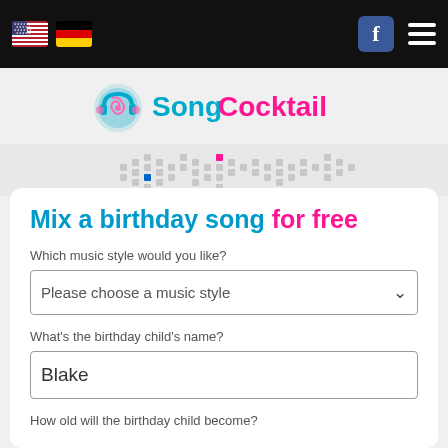SongCocktail navigation bar with language flags and menu
[Figure (logo): SongCocktail logo with headphones icon, cyan and pink text]
Mix a birthday song for free
Which music style would you like?
Please choose a music style
What's the birthday child's name?
Blake
How old will the birthday child become?